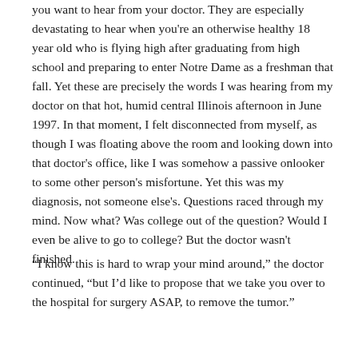you want to hear from your doctor. They are especially devastating to hear when you're an otherwise healthy 18 year old who is flying high after graduating from high school and preparing to enter Notre Dame as a freshman that fall. Yet these are precisely the words I was hearing from my doctor on that hot, humid central Illinois afternoon in June 1997. In that moment, I felt disconnected from myself, as though I was floating above the room and looking down into that doctor's office, like I was somehow a passive onlooker to some other person's misfortune. Yet this was my diagnosis, not someone else's. Questions raced through my mind. Now what? Was college out of the question? Would I even be alive to go to college? But the doctor wasn't finished.
“I know this is hard to wrap your mind around,” the doctor continued, “but I’d like to propose that we take you over to the hospital for surgery ASAP, to remove the tumor.”